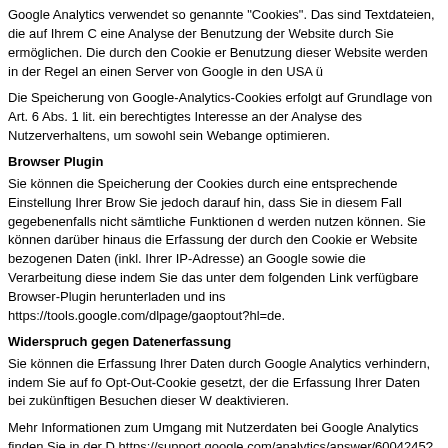Google Analytics verwendet so genannte "Cookies". Das sind Textdateien, die auf Ihrem C eine Analyse der Benutzung der Website durch Sie ermöglichen. Die durch den Cookie er Benutzung dieser Website werden in der Regel an einen Server von Google in den USA ü
Die Speicherung von Google-Analytics-Cookies erfolgt auf Grundlage von Art. 6 Abs. 1 lit. ein berechtigtes Interesse an der Analyse des Nutzerverhaltens, um sowohl sein Webange optimieren.
Browser Plugin
Sie können die Speicherung der Cookies durch eine entsprechende Einstellung Ihrer Brow Sie jedoch darauf hin, dass Sie in diesem Fall gegebenenfalls nicht sämtliche Funktionen d werden nutzen können. Sie können darüber hinaus die Erfassung der durch den Cookie er Website bezogenen Daten (inkl. Ihrer IP-Adresse) an Google sowie die Verarbeitung diese indem Sie das unter dem folgenden Link verfügbare Browser-Plugin herunterladen und ins https://tools.google.com/dlpage/gaoptout?hl=de.
Widerspruch gegen Datenerfassung
Sie können die Erfassung Ihrer Daten durch Google Analytics verhindern, indem Sie auf fo Opt-Out-Cookie gesetzt, der die Erfassung Ihrer Daten bei zukünftigen Besuchen dieser W deaktivieren.
Mehr Informationen zum Umgang mit Nutzerdaten bei Google Analytics finden Sie in der D https://support.google.com/analytics/answer/6004245?hl=de.
WordPress Stats
Diese Website nutzt das WordPress Tool Stats, um Besucherzugriffe statistisch auszuwert 60 29th Street #343, San Francisco, CA 94110-4929, USA.
WordPress Stats verwendet Cookies, die auf Ihrem Computer gespeichert werden und die Website erlauben. Die durch die Cookies generierten Informationen über die Benutzung u in den USA gespeichert. Ihre IP-Adresse wird nach der Verarbeitung und vor der Speicher